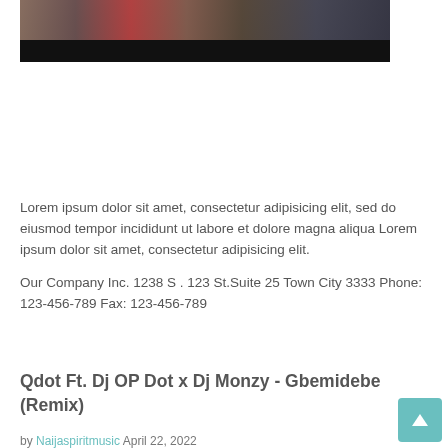[Figure (photo): Photo showing people, partially cropped, dark background with a black bar at bottom]
Lorem ipsum dolor sit amet, consectetur adipisicing elit, sed do eiusmod tempor incididunt ut labore et dolore magna aliqua Lorem ipsum dolor sit amet, consectetur adipisicing elit.

Our Company Inc. 1238 S . 123 St.Suite 25 Town City 3333 Phone: 123-456-789 Fax: 123-456-789
Qdot Ft. Dj OP Dot x Dj Monzy - Gbemidebe (Remix)
by Naijaspiritmusic April 22, 2022